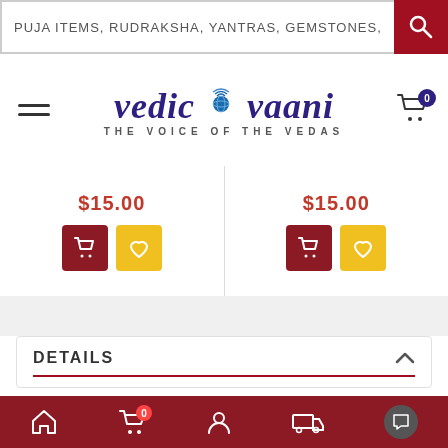PUJA ITEMS, RUDRAKSHA, YANTRAS, GEMSTONES, SHIVLING
[Figure (logo): Vedic Vaani logo with globe icon and tagline THE VOICE OF THE VEDAS]
$15.00
$15.00
DETAILS
Taj Ancient AL-Bakhoor Incense Sticks are prepared at our hygienic facility using best quality herb extracts, Natural Bakhoor powder, fragrance oils. This exotic fragrance provides the key to unlock the benefits of aromatherapy, to create an uplifting or enhancing mood or environmental effect. Spread fresh fragrance to your home, temple, office or special space, with Taj Ancient AL-Bakhoor Incense Sticks.